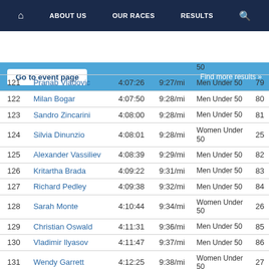ABOUT US  OUR RACES  RESULTS
Go to event page   Find more results »
| # | Name | Time | Pace | Category | Cat # |
| --- | --- | --- | --- | --- | --- |
|  |  |  |  | 50 |  |
| 121 | Pranab Vladovic | 4:07:26 | 9:27/mi | Men Under 50 | 79 |
| 122 | Milan Bogar | 4:07:50 | 9:28/mi | Men Under 50 | 80 |
| 123 | Sandro Zincarini | 4:08:00 | 9:28/mi | Men Under 50 | 81 |
| 124 | Silvia Dinunzio | 4:08:01 | 9:28/mi | Women Under 50 | 25 |
| 125 | Alexander Vassiliev | 4:08:39 | 9:29/mi | Men Under 50 | 82 |
| 126 | Kritartha Brada | 4:09:22 | 9:31/mi | Men Under 50 | 83 |
| 127 | Richard Pedley | 4:09:38 | 9:32/mi | Men Under 50 | 84 |
| 128 | Sarah Monte | 4:10:44 | 9:34/mi | Women Under 50 | 26 |
| 129 | Christian Oswald | 4:11:31 | 9:36/mi | Men Under 50 | 85 |
| 130 | Vladimir Ilyasov | 4:11:47 | 9:37/mi | Men Under 50 | 86 |
| 131 | Wendy Garrett | 4:12:25 | 9:38/mi | Women Under 50 | 27 |
| 132 | Sara Maria Schmidt | 4:12:28 | 9:38/mi | Women Under 50 | 28 |
| 133 | Shashanka Karlen | 4:13:04 | 9:40/mi | Men 50 to 59 | 15 |
| 134 | Pranam Horlbeck | 4:13:14 | 9:40/mi | Men Under 50 | 87 |